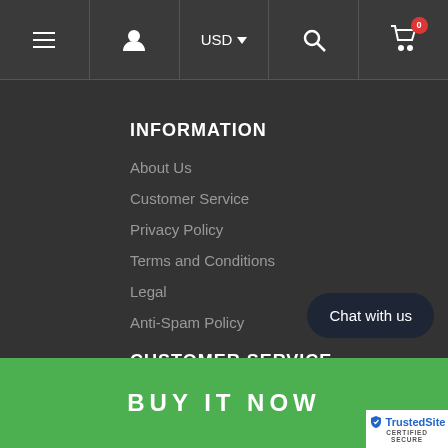Navigation bar with menu, account, USD currency selector, search, and cart icons
INFORMATION
About Us
Customer Service
Privacy Policy
Terms and Conditions
Legal
Anti-Spam Policy
CUSTOMER SERVICE
Contact Us
BUY IT NOW
Chat with us
TrustedSite CERTIFIED SECURE